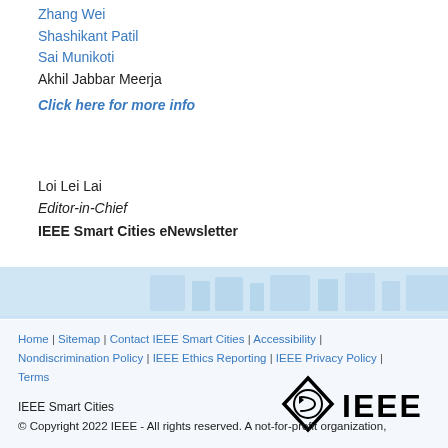Zhang Wei
Shashikant Patil
Sai Munikoti
Akhil Jabbar Meerja
Click here for more info
Loi Lei Lai
Editor-in-Chief
IEEE Smart Cities eNewsletter
[Figure (photo): Banner image showing a stylized smart city skyline in light blue tones]
Home | Sitemap | Contact IEEE Smart Cities | Accessibility | Nondiscrimination Policy | IEEE Ethics Reporting | IEEE Privacy Policy | Terms
[Figure (logo): IEEE logo with diamond shape containing a circular arrow symbol and the text IEEE in bold black]
IEEE Smart Cities
© Copyright 2022 IEEE - All rights reserved. A not-for-profit organization,